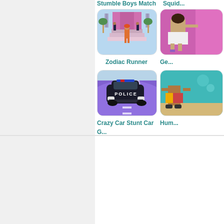Stumble Boys Match
Squid...
[Figure (screenshot): Zodiac Runner game thumbnail showing a female character in orange outfit walking on pastel steps with palm trees and pink curtain backdrop]
Zodiac Runner
[Figure (screenshot): Partially visible game thumbnail showing a female character in purple skirt]
Ge...
[Figure (screenshot): Crazy Car Stunt Car G game thumbnail showing a dark police car on a purple road]
Crazy Car Stunt Car G...
[Figure (screenshot): Partially visible game thumbnail showing characters on a beach]
Hum...